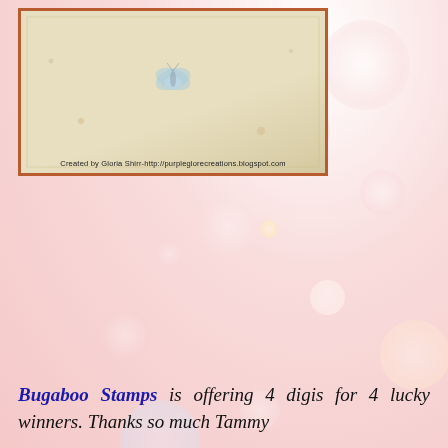[Figure (photo): A handmade card or paper craft project on a beige/cream background with a brown rectangular frame border and a small blue butterfly motif in the center. Caption reads: Created by Gloria Shirr http://purpleglorecreations.blogspot.com]
Bugaboo Stamps is offering 4 digis for 4 lucky winners. Thanks so much Tammy